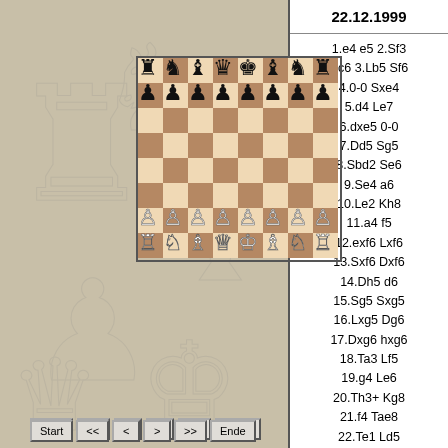[Figure (other): Chess board showing initial game position with all pieces in starting arrangement. Black pieces on ranks 7-8, white pieces on ranks 1-2.]
Start << < > >> Ende
22.12.1999
1.e4 e5 2.Sf3 Sc6 3.Lb5 Sf6 4.0-0 Sxe4 5.d4 Le7 6.dxe5 0-0 7.Dd5 Sg5 8.Sbd2 Se6 9.Se4 a6 10.Le2 Kh8 11.a4 f5 12.exf6 Lxf6 13.Sxf6 Dxf6 14.Dh5 d6 15.Sg5 Sxg5 16.Lxg5 Dg6 17.Dxg6 hxg6 18.Ta3 Lf5 19.g4 Le6 20.Th3+ Kg8 21.f4 Tae8 22.Te1 Ld5 23.Td3 Txe2 24.Txe2 Lc4